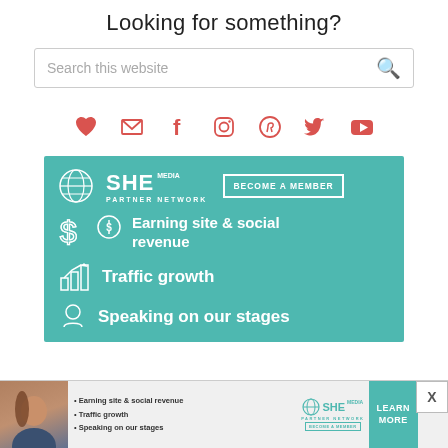Looking for something?
[Figure (other): Search bar with placeholder text 'Search this website' and a search icon on the right]
[Figure (other): Row of social media icons: heart/Bloglovin, email, Facebook, Instagram, Pinterest, Twitter, YouTube — all in coral/red color]
[Figure (infographic): SHE Media Partner Network teal advertisement banner. Shows SHE logo with globe icon, BECOME A MEMBER button, then three features: dollar sign icon with 'Earning site & social revenue', bar chart icon with 'Traffic growth', microphone icon with 'Speaking on our stages' (partially visible)]
[Figure (infographic): Bottom bar advertisement for SHE Media Partner Network showing a woman's photo, bullet points: Earning site & social revenue, Traffic growth, Speaking on our stages, SHE Media logo, BECOME A MEMBER, and a teal LEARN MORE button. An X close button appears at top right.]